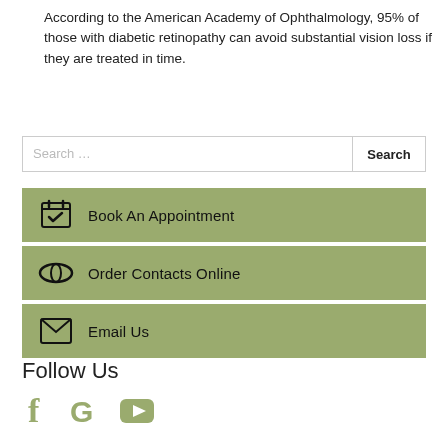According to the American Academy of Ophthalmology, 95% of those with diabetic retinopathy can avoid substantial vision loss if they are treated in time.
[Figure (infographic): Search bar with placeholder text 'Search ...' and a Search button]
[Figure (infographic): Three olive-green action buttons: 'Book An Appointment' with calendar-checkmark icon, 'Order Contacts Online' with contact lens icon, 'Email Us' with envelope icon]
Follow Us
[Figure (infographic): Social media icons: Facebook (f), Google (G), YouTube (play button triangle) in olive green color]